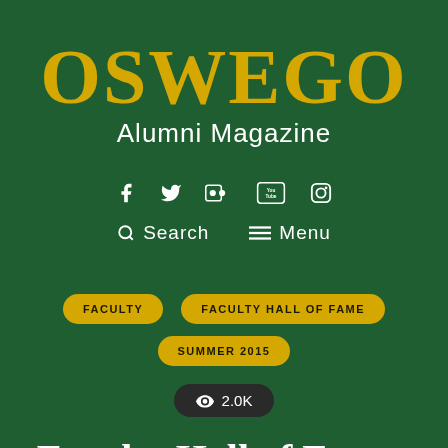OSWEGO Alumni Magazine
[Figure (other): Social media icons: Facebook, Twitter, Flickr, YouTube, Instagram]
Search   Menu
FACULTY   FACULTY HALL OF FAME   SUMMER 2015
2.0K views
Faculty Hall of Fame: Brian